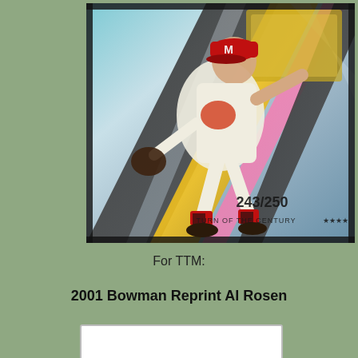[Figure (photo): Baseball trading card featuring a player in a white uniform with a Milwaukee Braves cap, mid-pitch stance. The card has a holographic/prismatic background with diagonal streaks of color including yellow, pink, teal, and silver. Text on the card reads '243/250' and 'TURN OF THE CENTURY' at the bottom. The word 'LEGENDS' appears vertically on the right side.]
For TTM:
2001 Bowman Reprint Al Rosen
[Figure (photo): Bottom portion of another baseball card, partially visible, white background with a dark border.]